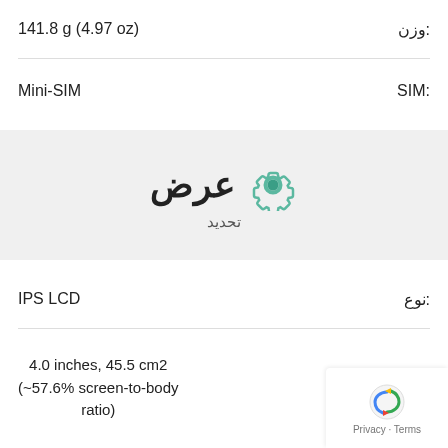| وزن: | 141.8 g (4.97 oz) |
| SIM: | Mini-SIM |
عرض
تحديد
| نوع: | IPS LCD |
| حجم: | 4.0 inches, 45.5 cm2 (~57.6% screen-to-body ratio) |